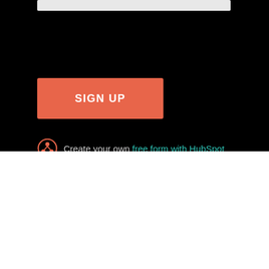[Figure (screenshot): Input bar at top of dark form section]
[Figure (screenshot): Orange SIGN UP button on dark background]
Create your own free form with HubSpot
[Figure (screenshot): Black rounded pill-shaped mobile navigation bar with hamburger menu icon and MENU text]
Search   Returns   Press   Blog